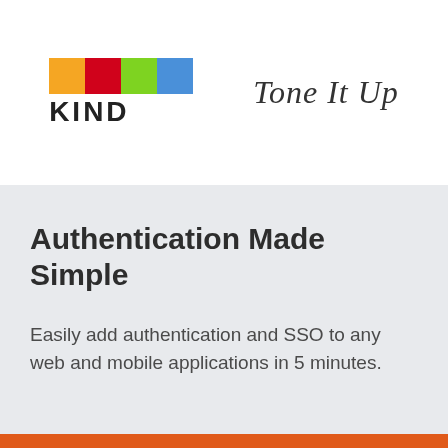[Figure (logo): KIND bar brand logo with four colored squares (yellow, red, green, blue) above the word KIND in bold black letters]
[Figure (logo): Tone It Up logo in cursive/handwritten script style]
Authentication Made Simple
Easily add authentication and SSO to any web and mobile applications in 5 minutes.